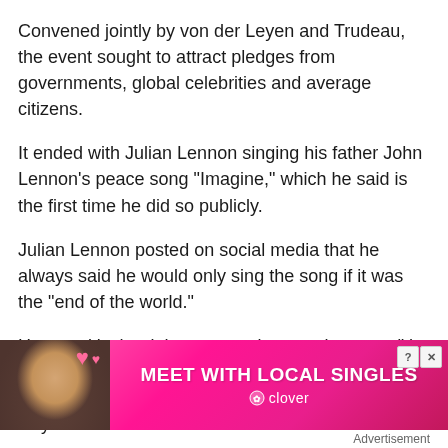Convened jointly by von der Leyen and Trudeau, the event sought to attract pledges from governments, global celebrities and average citizens.
It ended with Julian Lennon singing his father John Lennon's peace song "Imagine," which he said is the first time he did so publicly.
Julian Lennon posted on social media that he always said he would only sing the song if it was the "end of the world."
He says it's the right song to sing now because "the war on Ukraine is an unimaginable tragedy," and he felt compelled to respond in the most significant way that he could
[Figure (other): Advertisement banner: 'MEET WITH LOCAL SINGLES' with a photo of a smiling woman with headphones and pink hearts. Clover app branding at bottom.]
Advertisement